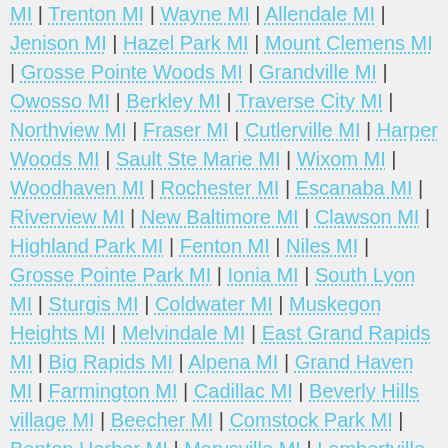MI | Trenton MI | Wayne MI | Allendale MI | Jenison MI | Hazel Park MI | Mount Clemens MI | Grosse Pointe Woods MI | Grandville MI | Owosso MI | Berkley MI | Traverse City MI | Northview MI | Fraser MI | Cutlerville MI | Harper Woods MI | Sault Ste Marie MI | Wixom MI | Woodhaven MI | Rochester MI | Escanaba MI | Riverview MI | New Baltimore MI | Clawson MI | Highland Park MI | Fenton MI | Niles MI | Grosse Pointe Park MI | Ionia MI | South Lyon MI | Sturgis MI | Coldwater MI | Muskegon Heights MI | Melvindale MI | East Grand Rapids MI | Big Rapids MI | Alpena MI | Grand Haven MI | Farmington MI | Cadillac MI | Beverly Hills village MI | Beecher MI | Comstock Park MI | Benton Harbor MI | Marysville MI | Lambertville MI | Flat Rock MI | Ecorse MI | Howell MI | Grosse Pointe Farms MI | Alma MI | Plymouth MI | Charlotte MI | Lapeer MI | Saline MI | Westwood MI | Albion MI | Menominee MI | Tecumseh MI | Temperance MI |